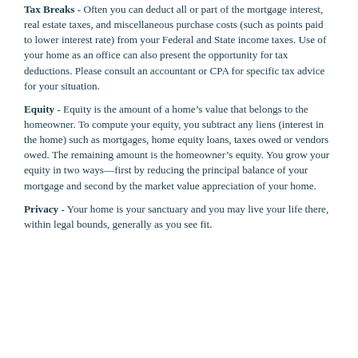Tax Breaks - Often you can deduct all or part of the mortgage interest, real estate taxes, and miscellaneous purchase costs (such as points paid to lower interest rate) from your Federal and State income taxes. Use of your home as an office can also present the opportunity for tax deductions. Please consult an accountant or CPA for specific tax advice for your situation.
Equity - Equity is the amount of a home's value that belongs to the homeowner. To compute your equity, you subtract any liens (interest in the home) such as mortgages, home equity loans, taxes owed or vendors owed. The remaining amount is the homeowner's equity. You grow your equity in two ways—first by reducing the principal balance of your mortgage and second by the market value appreciation of your home.
Privacy - Your home is your sanctuary and you may live your life there, within legal bounds, generally as you see fit.